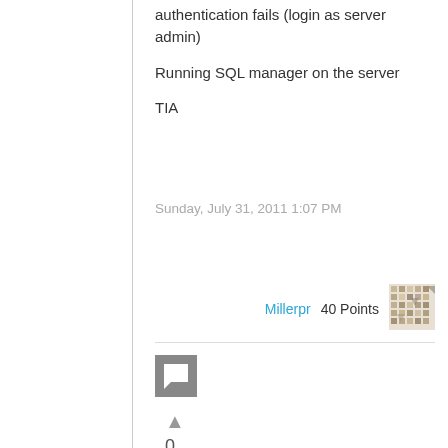authentication fails (login as server admin)
Running SQL manager on the server
TIA
Sunday, July 31, 2011 1:07 PM
[Figure (illustration): User avatar thumbnail - decorative pattern image for user Millerpr]
Millerpr   40 Points
[Figure (other): Comment icon - grey square with speech bubble shape]
▲
0